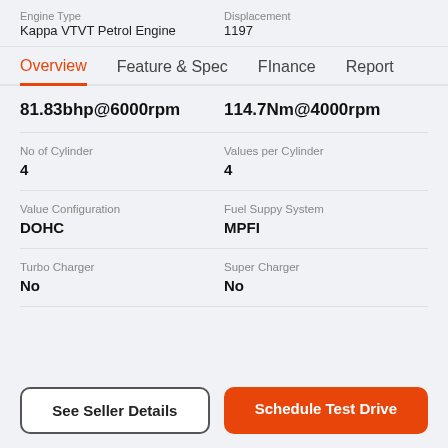Engine Type: Kappa VTVT Petrol Engine | Displacement: 1197
Overview | Feature & Spec | FInance | Report
81.83bhp@6000rpm | 114.7Nm@4000rpm
| No of Cylinder | Values per Cylinder |
| --- | --- |
| 4 | 4 |
| Value Configuration | Fuel Suppy System |
| --- | --- |
| DOHC | MPFI |
| Turbo Charger | Super Charger |
| --- | --- |
| No | No |
See Seller Details | Schedule Test Drive